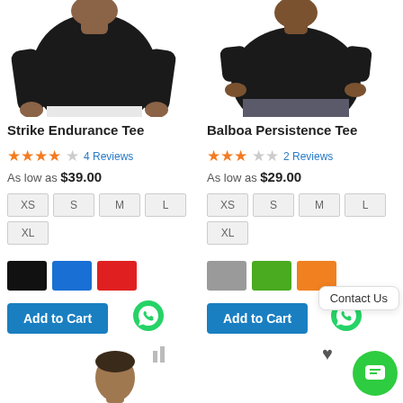[Figure (photo): Man wearing black long-sleeve Strike Endurance Tee, upper body, white pants]
Strike Endurance Tee
★★★★☆ 4 Reviews
As low as $39.00
Sizes: XS, S, M, L, XL
Colors: Black, Blue, Red
Add to Cart
[Figure (photo): Man wearing black short-sleeve Balboa Persistence Tee, upper body, grey shorts]
Balboa Persistence Tee
★★★☆☆ 2 Reviews
As low as $29.00
Sizes: XS, S, M, L, XL
Colors: Gray, Green, Orange
Add to Cart
Contact Us